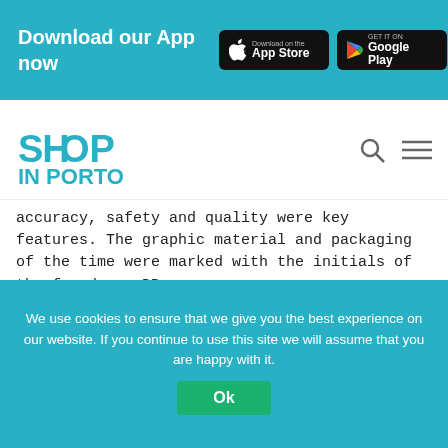Download our App now
[Figure (logo): Shop In Porto logo with teal lettering]
accuracy, safety and quality were key features. The graphic material and packaging of the time were marked with the initials of the founder – DB.
[Figure (photo): Interior shop photo showing antique items, a circular sign reading 'Armas de Artilharia', a heart-shaped teal icon, and a teal '+m' icon]
We use cookies to ensure that we give you the best experience on our website. If you continue to use this site we will assume that you are happy with it.